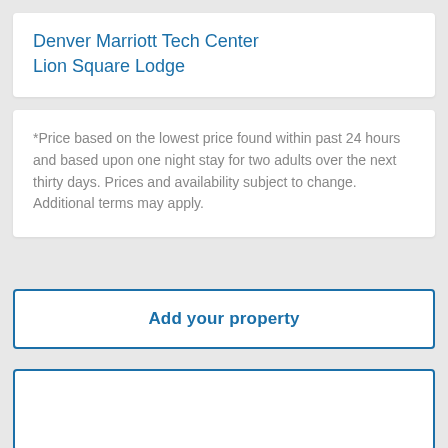Denver Marriott Tech Center
Lion Square Lodge
*Price based on the lowest price found within past 24 hours and based upon one night stay for two adults over the next thirty days. Prices and availability subject to change. Additional terms may apply.
Add your property